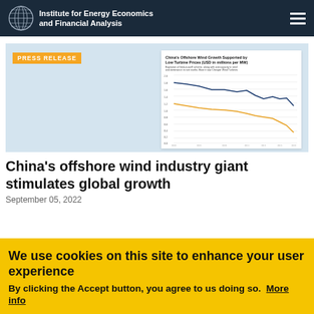Institute for Energy Economics and Financial Analysis
Press Release
[Figure (line-chart): Line chart showing global average and China turbine prices from ~2000 to 2022, both declining over time, with China prices lower than global average.]
China's offshore wind industry giant stimulates global growth
September 05, 2022
We use cookies on this site to enhance your user experience By clicking the Accept button, you agree to us doing so. More info